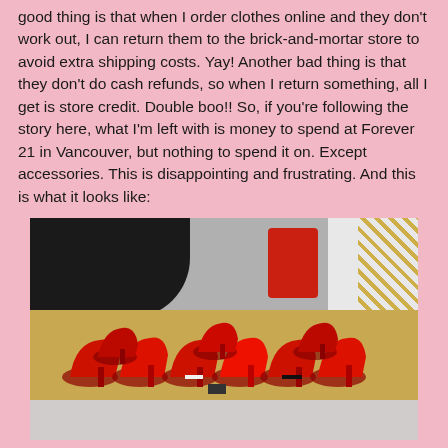good thing is that when I order clothes online and they don't work out, I can return them to the brick-and-mortar store to avoid extra shipping costs. Yay! Another bad thing is that they don't do cash refunds, so when I return something, all I get is store credit. Double boo!! So, if you're following the story here, what I'm left with is money to spend at Forever 21 in Vancouver, but nothing to spend it on. Except accessories. This is disappointing and frustrating. And this is what it looks like:
[Figure (photo): Photo of multiple red high-heeled shoes displayed on a store shelf, with black clothing visible at top left and white/gold patterned fabric at top right.]